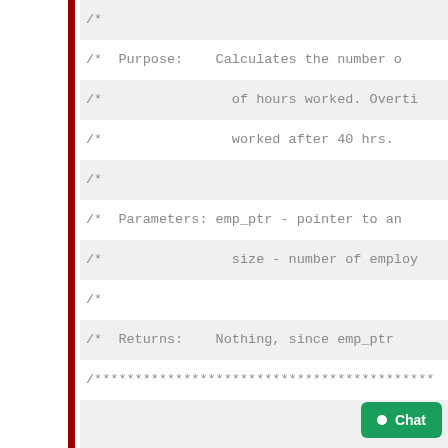Code listing showing calcOvertime function comment block and function signature in C